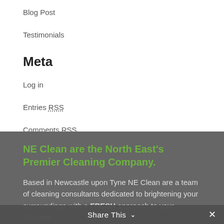Blog Post
Testimonials
Meta
Log in
Entries RSS
Comments RSS
WordPress.org
NE Clean are the North East's Premier Cleaning Company.
Based in Newcastle upon Tyne NE Clean are a team of cleaning consultants dedicated to brightening your surroundings with a FRESH approach to your cleaning
Share This ∨ ✕